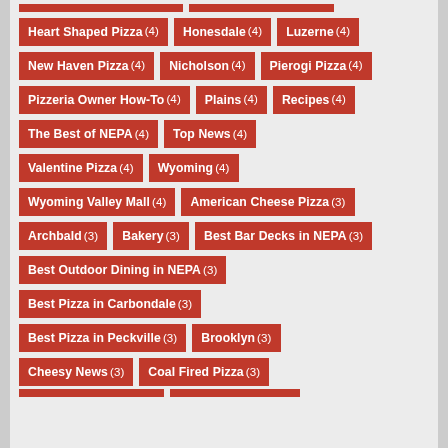Heart Shaped Pizza (4)
Honesdale (4)
Luzerne (4)
New Haven Pizza (4)
Nicholson (4)
Pierogi Pizza (4)
Pizzeria Owner How-To (4)
Plains (4)
Recipes (4)
The Best of NEPA (4)
Top News (4)
Valentine Pizza (4)
Wyoming (4)
Wyoming Valley Mall (4)
American Cheese Pizza (3)
Archbald (3)
Bakery (3)
Best Bar Decks in NEPA (3)
Best Outdoor Dining in NEPA (3)
Best Pizza in Carbondale (3)
Best Pizza in Peckville (3)
Brooklyn (3)
Cheesy News (3)
Coal Fired Pizza (3)